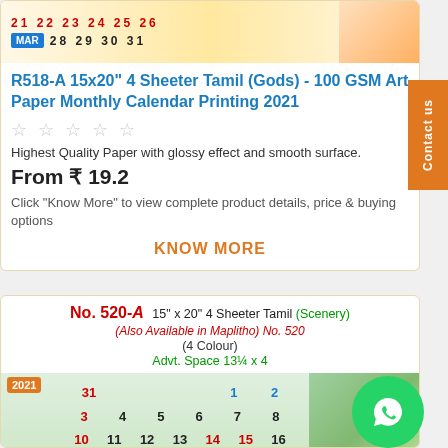[Figure (photo): Top portion of a Tamil calendar strip showing dates 21-26 in top row and MAR 28 29 30 31 in bottom row with floral image on right]
R518-A 15x20" 4 Sheeter Tamil (Gods) - 100 GSM Art Paper Monthly Calendar Printing 2021
☆☆☆☆☆
Highest Quality Paper with glossy effect and smooth surface.
From ₹ 19.2
Click "Know More" to view complete product details, price & buying options
KNOW MORE
[Figure (photo): No. 520-A 15" x 20" 4 Sheeter Tamil (Scenery) calendar header with 2021 calendar grid showing dates and scenery image]
No. 520-A 15" x 20" 4 Sheeter Tamil (Scenery)
(Also Available in Maplitho) No. 520
(4 Colour)
Advt. Space 13¼ x 4